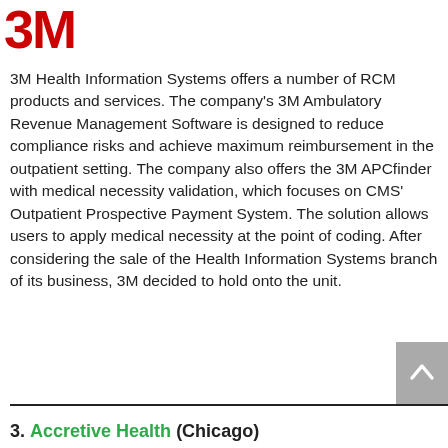[Figure (logo): 3M logo in red with bold stylized letters]
3M Health Information Systems offers a number of RCM products and services. The company's 3M Ambulatory Revenue Management Software is designed to reduce compliance risks and achieve maximum reimbursement in the outpatient setting. The company also offers the 3M APCfinder with medical necessity validation, which focuses on CMS' Outpatient Prospective Payment System. The solution allows users to apply medical necessity at the point of coding. After considering the sale of the Health Information Systems branch of its business, 3M decided to hold onto the unit.
3. Accretive Health (Chicago)